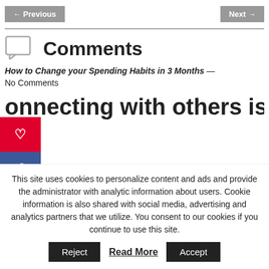← Previous    Next →
Comments
How to Change your Spending Habits in 3 Months — No Comments
onnecting with others is a
This site uses cookies to personalize content and ads and provide the administrator with analytic information about users. Cookie information is also shared with social media, advertising and analytics partners that we utilize. You consent to our cookies if you continue to use this site.
Reject   Read More   Accept